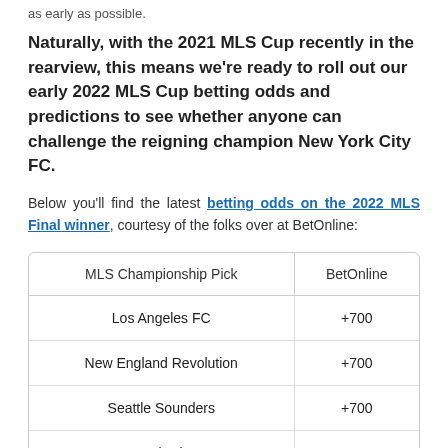as early as possible.
Naturally, with the 2021 MLS Cup recently in the rearview, this means we're ready to roll out our early 2022 MLS Cup betting odds and predictions to see whether anyone can challenge the reigning champion New York City FC.
Below you'll find the latest betting odds on the 2022 MLS Final winner, courtesy of the folks over at BetOnline:
| MLS Championship Pick | BetOnline |
| --- | --- |
| Los Angeles FC | +700 |
| New England Revolution | +700 |
| Seattle Sounders | +700 |
| New York City FC | +1000 |